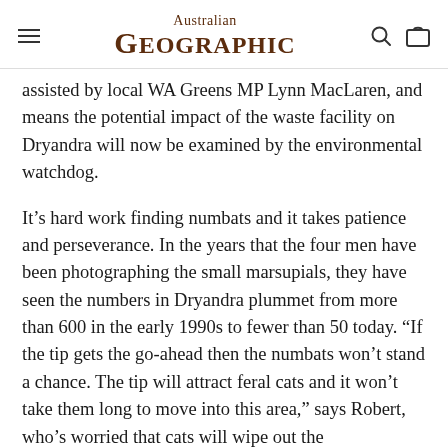Australian Geographic
assisted by local WA Greens MP Lynn MacLaren, and means the potential impact of the waste facility on Dryandra will now be examined by the environmental watchdog.
It’s hard work finding numbats and it takes patience and perseverance. In the years that the four men have been photographing the small marsupials, they have seen the numbers in Dryandra plummet from more than 600 in the early 1990s to fewer than 50 today. “If the tip gets the go-ahead then the numbats won’t stand a chance. The tip will attract feral cats and it won’t take them long to move into this area,” says Robert, who’s worried that cats will wipe out the